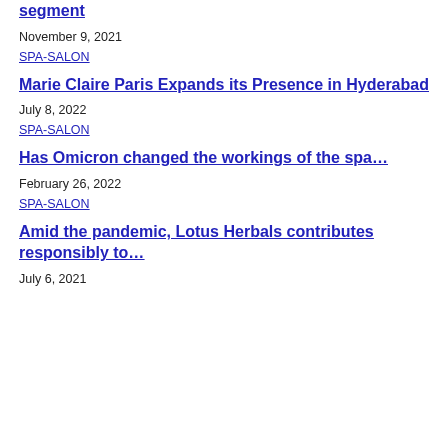segment
November 9, 2021
SPA-SALON
Marie Claire Paris Expands its Presence in Hyderabad
July 8, 2022
SPA-SALON
Has Omicron changed the workings of the spa…
February 26, 2022
SPA-SALON
Amid the pandemic, Lotus Herbals contributes responsibly to…
July 6, 2021